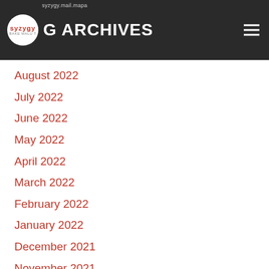BLOG ARCHIVES
August 2022
July 2022
June 2022
May 2022
April 2022
March 2022
February 2022
January 2022
December 2021
November 2021
October 2021
September 2021
August 2021
July 2021
June 2021
May 2021
April 2021